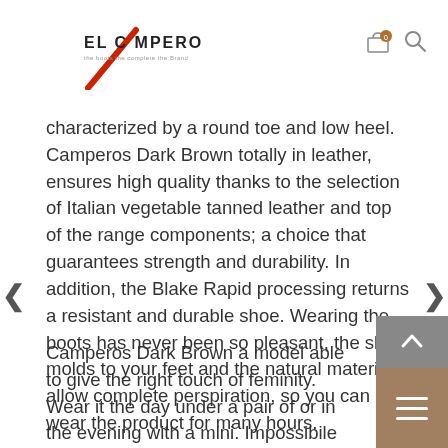EL CAMPERO
characterized by a round toe and low heel. Camperos Dark Brown totally in leather, ensures high quality thanks to the selection of Italian vegetable tanned leather and top of the range components; a choice that guarantees strength and durability. In addition, the Blake Rapid processing returns a resistant and durable shoe. Wearing the boots has never been so pleasant, the shoe molds to your feet and the natural materials allow complete perspiration, so you can wear the product for many hours.
Camperos Dark Brown a model able to give the right touch of feminity. Wear it the day under a pair of or in the evening with a mini. Impossibile not to notice it.